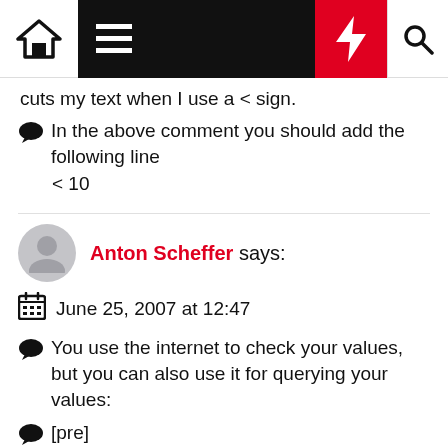Navigation bar with home, menu, lightning, search icons
cuts my text when I use a < sign.
In the above comment you should add the following line
< 10
Anton Scheffer says:
June 25, 2007 at 12:47
You use the internet to check your values, but you can also use it for querying your values:
[pre]
select 2000 + level